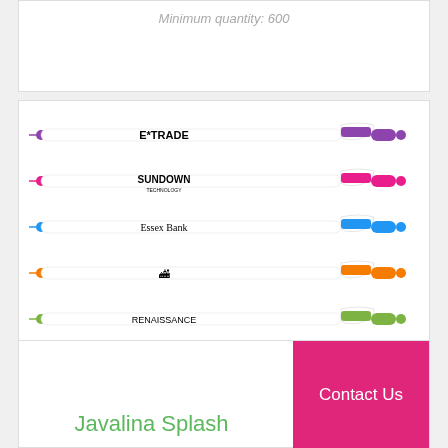Minimum quantity: 600
[Figure (photo): Five promotional ballpoint pens with white barrels and colored accents/tips: purple (E*TRADE), pink (Sundown), blue (Essex Bank), orange (NYC logo), green (Renaissance). Each pen shown horizontally with matching colored clip and tip.]
Contact Us
Javalina Splash